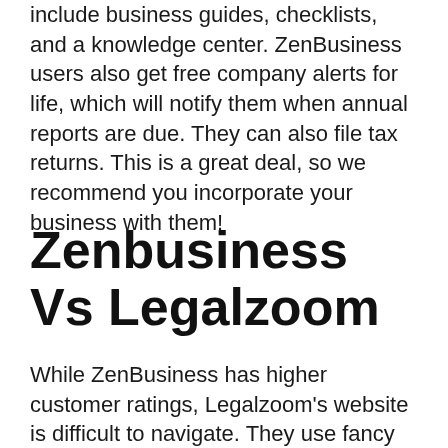include business guides, checklists, and a knowledge center. ZenBusiness users also get free company alerts for life, which will notify them when annual reports are due. They can also file tax returns. This is a great deal, so we recommend you incorporate your business with them!
Zenbusiness Vs Legalzoom
While ZenBusiness has higher customer ratings, Legalzoom's website is difficult to navigate. They use fancy language to hide important details like pricing and options. ZenBusiness's website is simpler, but it lacks